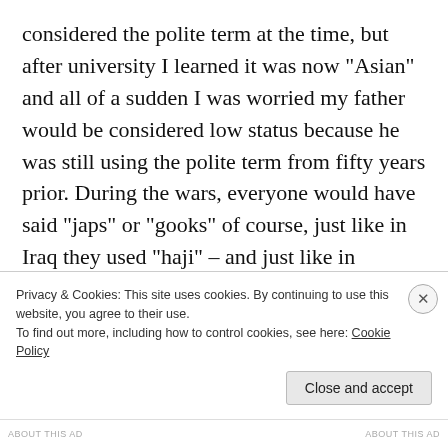considered the polite term at the time, but after university I learned it was now “Asian” and all of a sudden I was worried my father would be considered low status because he was still using the polite term from fifty years prior. During the wars, everyone would have said “japs” or “gooks” of course, just like in Iraq they used “haji” – and just like in Josephus’ time, they used the term “mary” to mean, basically, any Jewish woman.
The Democratic Socialists of America are not, in fact, socialist in any real sense. They do not want the means
Privacy & Cookies: This site uses cookies. By continuing to use this website, you agree to their use.
To find out more, including how to control cookies, see here: Cookie Policy
Close and accept
ABOUT THIS AD